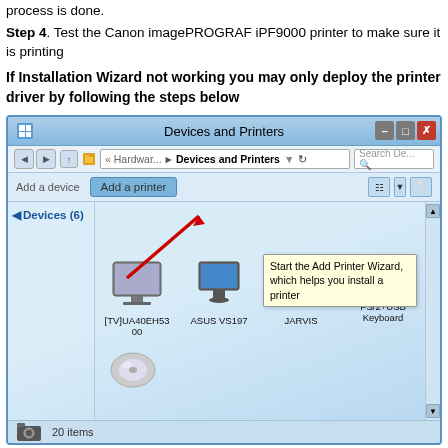process is done.
Step 4. Test the Canon imagePROGRAF iPF9000 printer to make sure it is printing
If Installation Wizard not working you may only deploy the printer driver by following the steps below
[Figure (screenshot): Windows 7 Devices and Printers window showing 'Add a printer' button highlighted with a red arrow. Devices listed include [TV]UA40EH5300, ASUS VS197, JARVIS, PS/2+USB Keyboard, and a CD/DVD item. Status bar shows 20 items. A tooltip reads 'Start the Add Printer Wizard, which helps you install a printer'.]